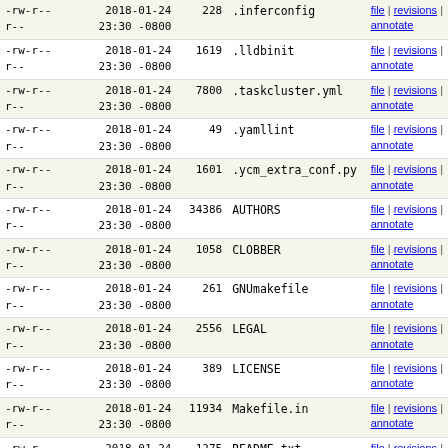| permissions | date/time | size | filename | actions |
| --- | --- | --- | --- | --- |
| -rw-r--r-- | 2018-01-24 23:30 -0800 | 228 | .inferconfig | file | revisions | annotate |
| -rw-r--r-- | 2018-01-24 23:30 -0800 | 1619 | .lldbinit | file | revisions | annotate |
| -rw-r--r-- | 2018-01-24 23:30 -0800 | 7800 | .taskcluster.yml | file | revisions | annotate |
| -rw-r--r-- | 2018-01-24 23:30 -0800 | 49 | .yamllint | file | revisions | annotate |
| -rw-r--r-- | 2018-01-24 23:30 -0800 | 1601 | .ycm_extra_conf.py | file | revisions | annotate |
| -rw-r--r-- | 2018-01-24 23:30 -0800 | 34386 | AUTHORS | file | revisions | annotate |
| -rw-r--r-- | 2018-01-24 23:30 -0800 | 1058 | CLOBBER | file | revisions | annotate |
| -rw-r--r-- | 2018-01-24 23:30 -0800 | 261 | GNUmakefile | file | revisions | annotate |
| -rw-r--r-- | 2018-01-24 23:30 -0800 | 2556 | LEGAL | file | revisions | annotate |
| -rw-r--r-- | 2018-01-24 23:30 -0800 | 389 | LICENSE | file | revisions | annotate |
| -rw-r--r-- | 2018-01-24 23:30 -0800 | 11934 | Makefile.in | file | revisions | annotate |
| -rw-r--r-- | 2018-01-24 23:30 -0800 | 1275 | README.txt | file | revisions | annotate |
| -rw-r--r-- | 2018-01-24 23:30 -0800 | 1597 | aclocal.m4 | file | revisions | annotate |
| -rw-r--r-- | 2018-01-24 23:30 -0800 | 4845 | build.gradle | file | revisions | annotate |